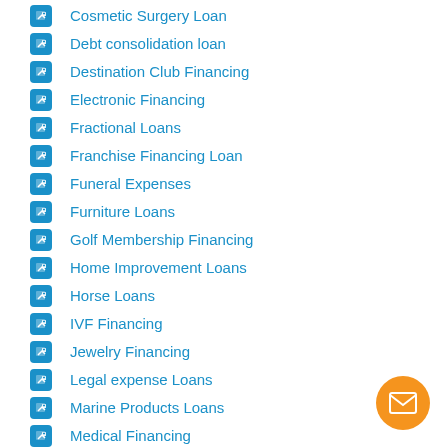Cosmetic Surgery Loan
Debt consolidation loan
Destination Club Financing
Electronic Financing
Fractional Loans
Franchise Financing Loan
Funeral Expenses
Furniture Loans
Golf Membership Financing
Home Improvement Loans
Horse Loans
IVF Financing
Jewelry Financing
Legal expense Loans
Marine Products Loans
Medical Financing
Mobile Home Loan
Motorcycle Loans